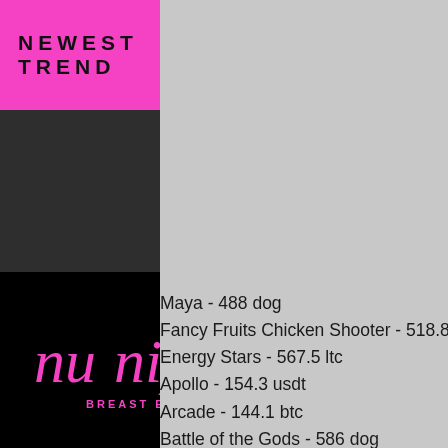NEWEST FASHION TREND
[Figure (logo): nu nips BREAST ENHANCERS logo in pink on black background]
Maya - 488 dog
Fancy Fruits Chicken Shooter - 518.8 ltc
Energy Stars - 567.5 ltc
Apollo - 154.3 usdt
Arcade - 144.1 btc
Battle of the Gods - 586 dog
Goblin's Cave - 513.2 ltc
New Games:
1xSlots Casino Hook's Heroes
Cloudbet Casino Fancy Fruits